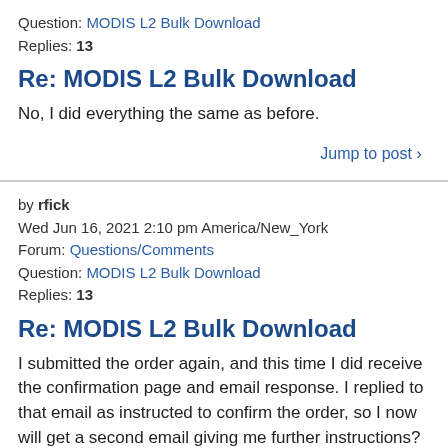Question: MODIS L2 Bulk Download
Replies: 13
Re: MODIS L2 Bulk Download
No, I did everything the same as before.
Jump to post ›
by rfick
Wed Jun 16, 2021 2:10 pm America/New_York
Forum: Questions/Comments
Question: MODIS L2 Bulk Download
Replies: 13
Re: MODIS L2 Bulk Download
I submitted the order again, and this time I did receive the confirmation page and email response. I replied to that email as instructed to confirm the order, so I now will get a second email giving me further instructions?